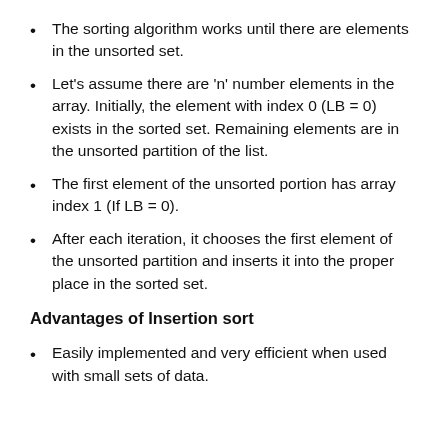The sorting algorithm works until there are elements in the unsorted set.
Let's assume there are 'n' number elements in the array. Initially, the element with index 0 (LB = 0) exists in the sorted set. Remaining elements are in the unsorted partition of the list.
The first element of the unsorted portion has array index 1 (If LB = 0).
After each iteration, it chooses the first element of the unsorted partition and inserts it into the proper place in the sorted set.
Advantages of Insertion sort
Easily implemented and very efficient when used with small sets of data.